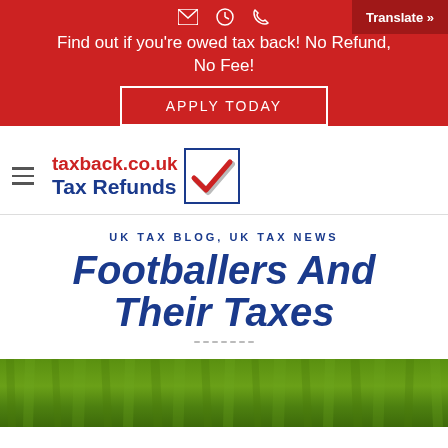Find out if you're owed tax back! No Refund, No Fee! APPLY TODAY | Translate »
[Figure (logo): taxback.co.uk Tax Refunds logo with red checkmark in blue bordered box]
UK TAX BLOG, UK TAX NEWS
Footballers And Their Taxes
[Figure (photo): Green football grass pitch surface photo]